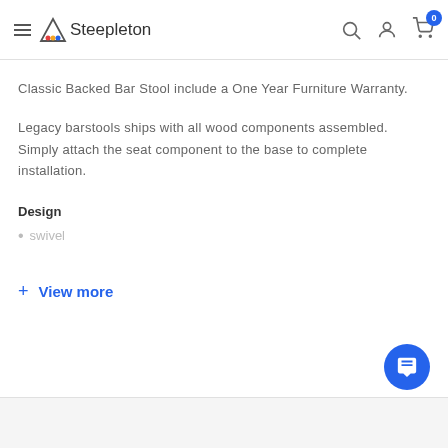Steepleton
Classic Backed Bar Stool include a One Year Furniture Warranty.
Legacy barstools ships with all wood components assembled. Simply attach the seat component to the base to complete installation.
Design
swivel
+ View more